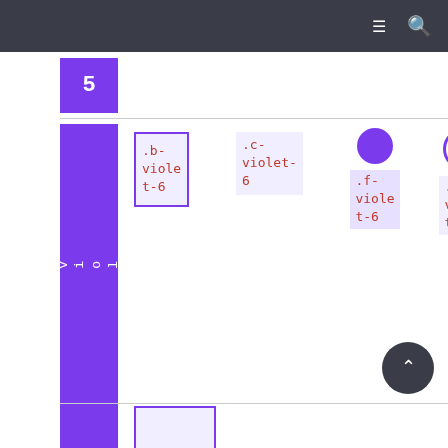Navigation bar with menu and search icons
[Figure (screenshot): Color swatch documentation page showing violet-6 color variants: .bg-violet-6 (purple background side label), .b-violet-6 (bordered box), .c-violet-6 (text tint), .f-violet-6 (filled circle), .s-violet-6 (stroke circle)]
.bg-violet-6
.b-violet-6
.c-violet-6
.f-violet-6
.s-violet-6